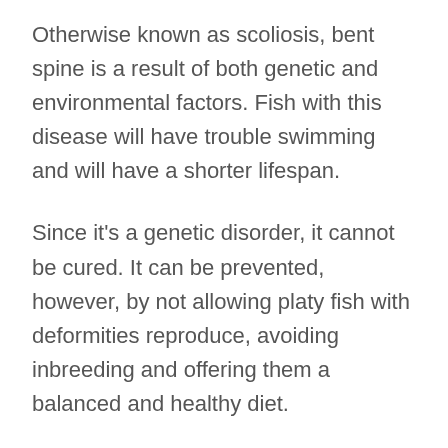Otherwise known as scoliosis, bent spine is a result of both genetic and environmental factors. Fish with this disease will have trouble swimming and will have a shorter lifespan.
Since it's a genetic disorder, it cannot be cured. It can be prevented, however, by not allowing platy fish with deformities reproduce, avoiding inbreeding and offering them a balanced and healthy diet.
Symptoms: